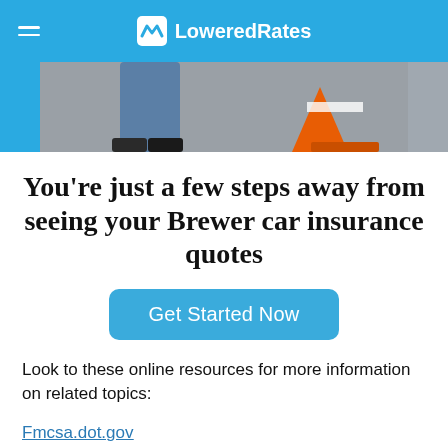LoweredRates
[Figure (photo): Partial photo showing person's legs in jeans and a traffic cone on pavement]
You're just a few steps away from seeing your Brewer car insurance quotes
Get Started Now
Look to these online resources for more information on related topics:
Fmcsa.dot.gov
Nhtsa.gov